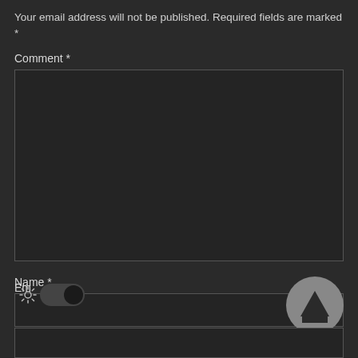Your email address will not be published. Required fields are marked *
Comment *
[Figure (screenshot): Empty comment textarea input field with dark background and border]
Name *
[Figure (screenshot): Empty name text input field with dark background and border]
Em
[Figure (screenshot): Dark/light mode toggle switch with sun icon, toggled to dark (right)]
[Figure (screenshot): Scroll-to-top circular button with upward arrow triangle]
[Figure (screenshot): Empty email text input field with dark background and border]